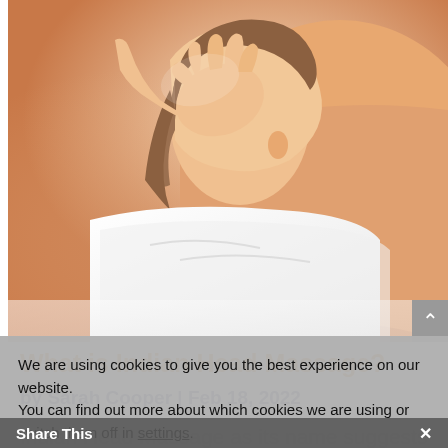[Figure (photo): Close-up photo of a person receiving a head/neck massage, lying face down on white towels. The masseur's hands are visible on the client's neck/head area. Warm skin tones dominate the image.]
What is Indian Head Massage?
by Sarah Cooper | Feb 18, 2022
Indian Head Massage as its name suggests is a massage originally
We are using cookies to give you the best experience on our website.
You can find out more about which cookies we are using or switch them off in settings.
Accept
Reject
Settings
Share This